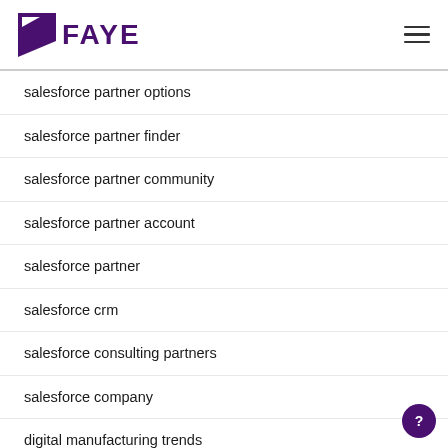FAYE
salesforce partner options
salesforce partner finder
salesforce partner community
salesforce partner account
salesforce partner
salesforce crm
salesforce consulting partners
salesforce company
digital manufacturing trends